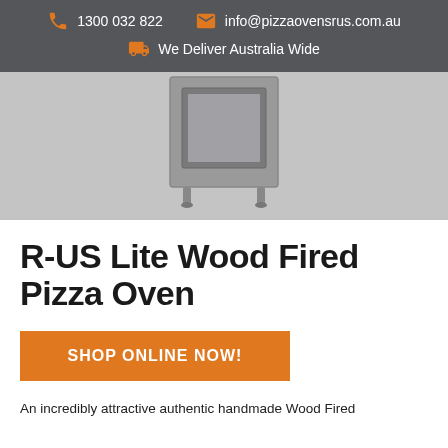1300 032 822  info@pizzaovensrus.com.au  We Deliver Australia Wide
[Figure (photo): Partial view of a wood fired pizza oven product against a light grey background]
R-US Lite Wood Fired Pizza Oven
SHOP ONLINE NOW!
An incredibly attractive authentic handmade Wood Fired